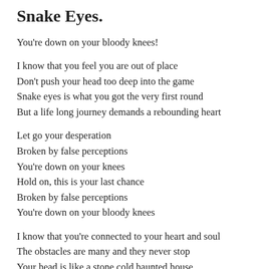Snake Eyes.
You're down on your bloody knees!
I know that you feel you are out of place
Don't push your head too deep into the game
Snake eyes is what you got the very first round
But a life long journey demands a rebounding heart
Let go your desperation
Broken by false perceptions
You're down on your knees
Hold on, this is your last chance
Broken by false perceptions
You're down on your bloody knees
I know that you're connected to your heart and soul
The obstacles are many and they never stop
Your head is like a stone cold haunted house